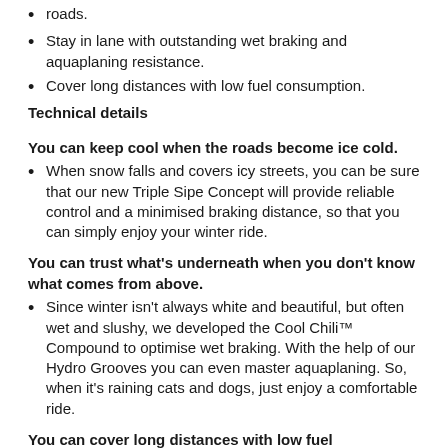roads.
Stay in lane with outstanding wet braking and aquaplaning resistance.
Cover long distances with low fuel consumption.
Technical details
You can keep cool when the roads become ice cold.
When snow falls and covers icy streets, you can be sure that our new Triple Sipe Concept will provide reliable control and a minimised braking distance, so that you can simply enjoy your winter ride.
You can trust what's underneath when you don't know what comes from above.
Since winter isn't always white and beautiful, but often wet and slushy, we developed the Cool Chili™ Compound to optimise wet braking. With the help of our Hydro Grooves you can even master aquaplaning. So, when it's raining cats and dogs, just enjoy a comfortable ride.
You can cover long distances with low fuel consumption.
When your winter journey takes longer and longer, this tyre